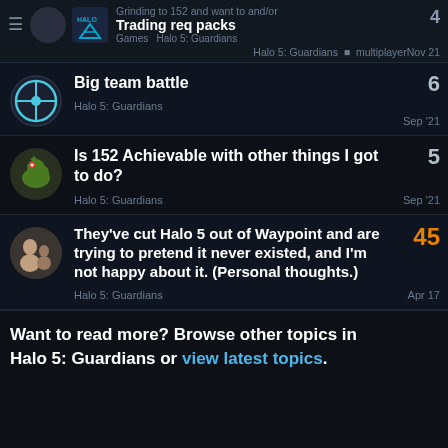Grinding to 152 and want to and/or Trading req packs and help · Games · Halo 5: Guardians · Halo 5: Guardians · multiplayer · Nov 21 · 4
Big team battle · Halo 5: Guardians · Sep '21 · 6
Is 152 Achievable with other things I got to do? · Halo 5: Guardians · Sep '21 · 5
They've cut Halo 5 out of Waypoint and are trying to pretend it never existed, and I'm not happy about it. (Personal thoughts.) · Halo 5: Guardians · Apr 17 · 45
Want to read more? Browse other topics in Halo 5: Guardians or view latest topics.